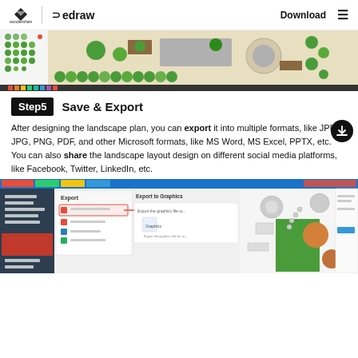wondershare | edraw | Download
[Figure (screenshot): Screenshot of Edraw landscape design software showing a garden/landscape plan with trees, paths, and decorative elements on a beige background, with a toolbar at the bottom.]
Step5   Save & Export
After designing the landscape plan, you can export it into multiple formats, like JPEG, JPG, PNG, PDF, and other Microsoft formats, like MS Word, MS Excel, PPTX, etc. You can also share the landscape layout design on different social media platforms, like Facebook, Twitter, LinkedIn, etc.
[Figure (screenshot): Screenshot of Edraw software showing the Export dialog with Export to Graphics options, and a landscape design with various plant and furniture elements visible on the canvas.]